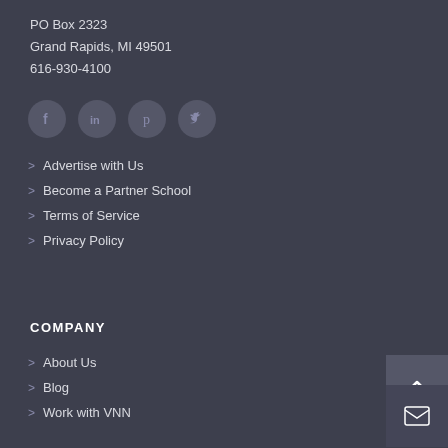PO Box 2323
Grand Rapids, MI 49501
616-930-4100
[Figure (other): Social media icons: Facebook, LinkedIn, Pinterest, Twitter — circular dark grey buttons]
> Advertise with Us
> Become a Partner School
> Terms of Service
> Privacy Policy
COMPANY
> About Us
> Blog
> Work with VNN